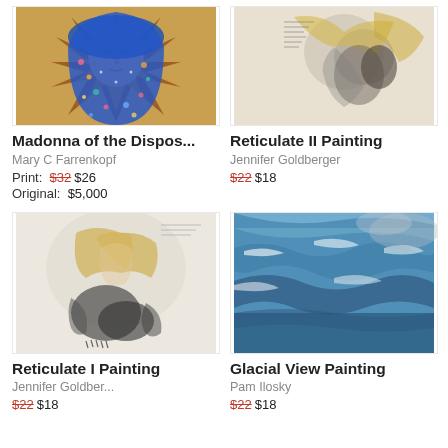[Figure (illustration): Painting of Madonna with colorful mosaic-style blue floral veil and star burst background pattern]
Madonna of the Dispos...
Mary C Farrenkopf
Print: $32 $26
Original: $5,000
[Figure (illustration): Abstract painting in muted yellows and grays showing a figure, Reticulate II]
Reticulate II Painting
Jennifer Goldberger
$22 $18
[Figure (illustration): Abstract painting with figure forms in ochre and dark tones, Reticulate I]
Reticulate I Painting
Jennifer Goldber...
$22 $18
[Figure (illustration): Ocean/glacial landscape painting in blues and whites, Glacial View]
Glacial View Painting
Pam Ilosky
$22 $18